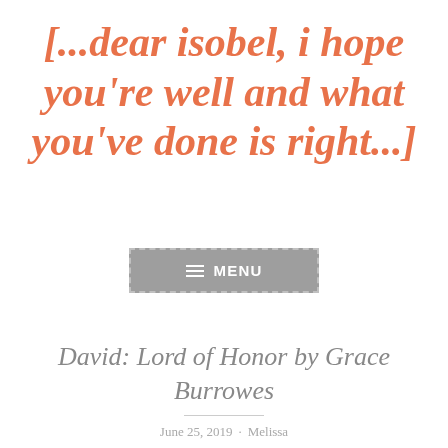[...dear isobel, i hope you're well and what you've done is right...]
[Figure (screenshot): A gray menu button with dashed border, hamburger icon and MENU label in white text on gray background]
David: Lord of Honor by Grace Burrowes
June 25, 2019 · Melissa